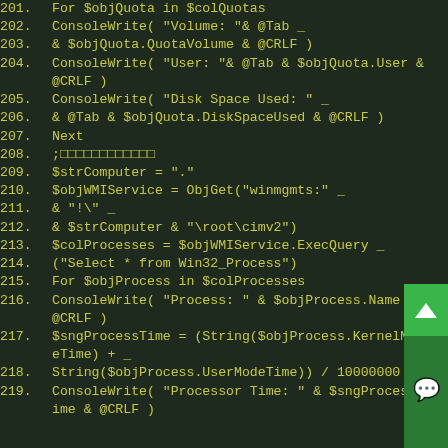[Figure (screenshot): Code editor screenshot showing VBScript/AutoIt code lines 201–219 with yellow-green text on dark green background. Lines include For loop over $colQuotas, ConsoleWrite statements for Volume/User/Disk Space Used, Next, commented separator line, $strComputer assignment, $objWMIService ObjGet call, $colProcesses ExecQuery, For loop over $colProcesses, ConsoleWrite for Process Name, $sngProcessTime string calculation, and ConsoleWrite for Processor Time.]